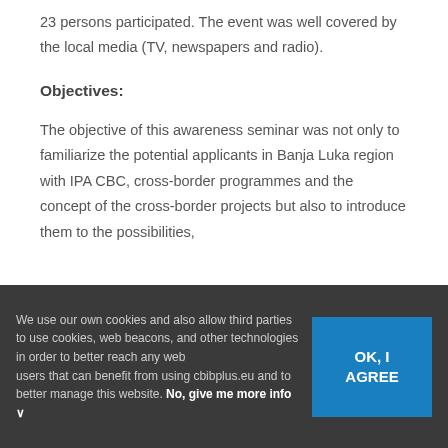23 persons participated. The event was well covered by the local media (TV, newspapers and radio).
Objectives:
The objective of this awareness seminar was not only to familiarize the potential applicants in Banja Luka region with IPA CBC, cross-border programmes and the concept of the cross-border projects but also to introduce them to the possibilities,
We use our own cookies and also allow third parties to use cookies, web beacons, and other technologies in order to better reach any web users that can benefit from using cbibplus.eu and to better manage this website. No, give me more info ∨